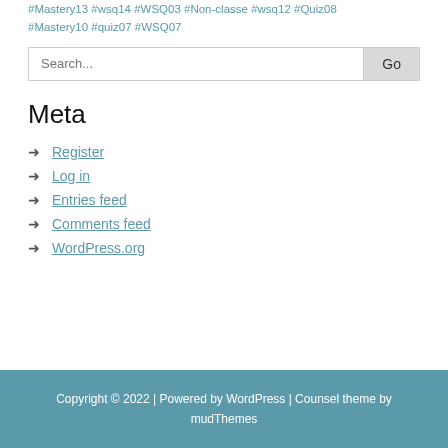#Mastery13 #wsq14 #WSQ03 #Non-classe #wsq12 #Quiz08 #Mastery10 #quiz07 #WSQ07
Search...
Meta
Register
Log in
Entries feed
Comments feed
WordPress.org
Copyright © 2022 | Powered by WordPress | Counsel theme by mudThemes